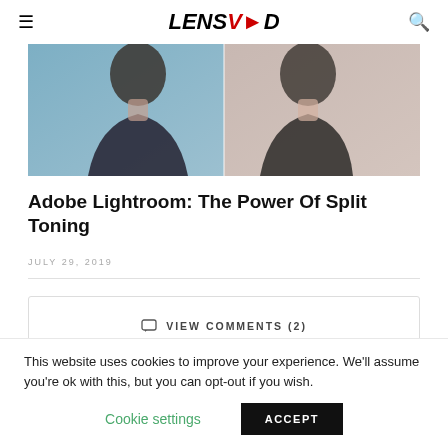LENSVID
[Figure (photo): Woman seen from behind showing her neck and shoulder, with split toning comparison – left side cool blue tones, right side warm neutral tones]
Adobe Lightroom: The Power Of Split Toning
JULY 29, 2019
VIEW COMMENTS (2)
This website uses cookies to improve your experience. We'll assume you're ok with this, but you can opt-out if you wish.
Cookie settings
ACCEPT